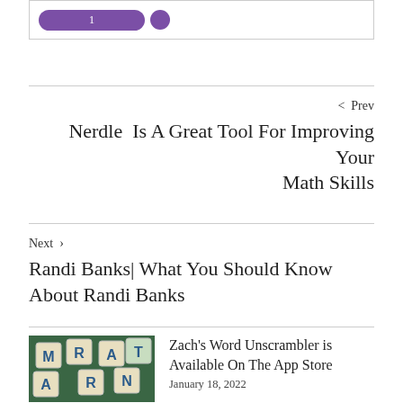[Figure (other): Top box with purple button and purple circle element]
< Prev
Nerdle Is A Great Tool For Improving Your Math Skills
Next >
Randi Banks| What You Should Know About Randi Banks
[Figure (photo): Scrabble letter tiles arranged on green background]
Zach's Word Unscrambler is Available On The App Store
January 18, 2022